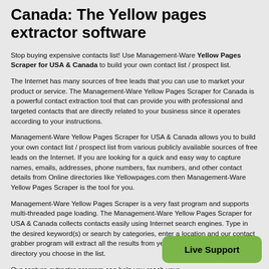Canada: The Yellow pages extractor software
Stop buying expensive contacts list! Use Management-Ware Yellow Pages Scraper for USA & Canada to build your own contact list / prospect list.
The Internet has many sources of free leads that you can use to market your product or service. The Management-Ware Yellow Pages Scraper for Canada is a powerful contact extraction tool that can provide you with professional and targeted contacts that are directly related to your business since it operates according to your instructions.
Management-Ware Yellow Pages Scraper for USA & Canada allows you to build your own contact list / prospect list from various publicly available sources of free leads on the Internet. If you are looking for a quick and easy way to capture names, emails, addresses, phone numbers, fax numbers, and other contact details from Online directories like Yellowpages.com then Management-Ware Yellow Pages Scraper is the tool for you.
Management-Ware Yellow Pages Scraper is a very fast program and supports multi-threaded page loading. The Management-Ware Yellow Pages Scraper for USA & Canada collects contacts easily using Internet search engines. Type in the desired keyword(s) or search by categories, enter a location and our contact grabber program will extract all the results from yellowpages.com or any other directory you choose in the list.
Our capture extractor program can help you reach your
[Figure (other): Green rounded button with text 'Live Support']